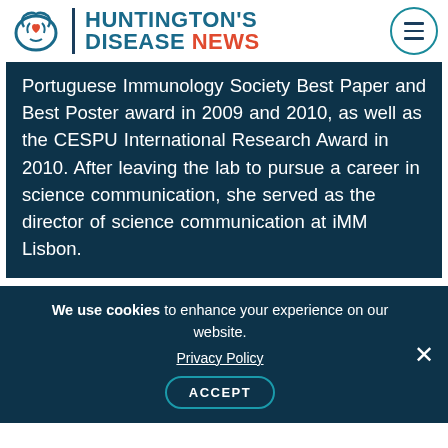Huntington's Disease News
Portuguese Immunology Society Best Paper and Best Poster award in 2009 and 2010, as well as the CESPU International Research Award in 2010. After leaving the lab to pursue a career in science communication, she served as the director of science communication at iMM Lisbon.
We use cookies to enhance your experience on our website.
Privacy Policy
ACCEPT